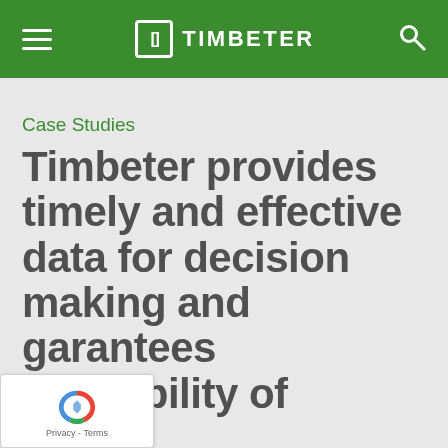TIMBETER
Case Studies
Timbeter provides timely and effective data for decision making and guarantees traceability of